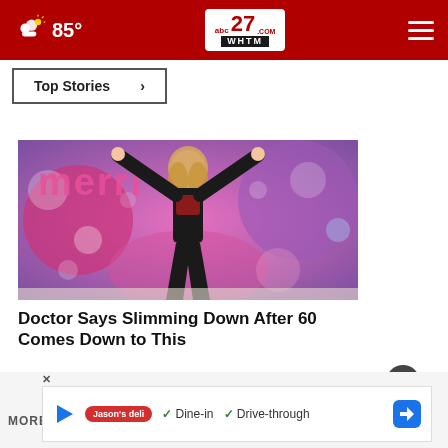abc27 WHTM — 85°
Top Stories ›
[Figure (photo): Woman in black outfit with arms raised on a colorful stage set with bokeh lights and 'merri' signage in background]
Doctor Says Slimming Down After 60 Comes Down to This
Ad by Dr. Kellyann
[Figure (screenshot): Bottom advertisement banner: Jason's Deli with Dine-in and Drive-through checkmarks and navigation arrow icon]